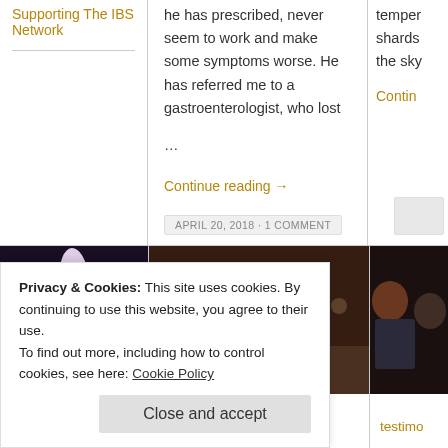Supporting The IBS Network
he has prescribed, never seem to work and make some symptoms worse. He has referred me to a gastroenterologist, who lost …
Continue reading →
APRIL 20, 2018 · 1 COMMENT
temper… shards… the sky…
Contin…
[Figure (photo): Close-up of purple orchid flowers against a dark background]
[Figure (photo): Two people in a meeting or consultation setting, a man and a woman talking at a table]
[Figure (photo): A man speaking or in conversation, partial view]
One of my favourite
So many people with IBS
testimo…
Privacy & Cookies: This site uses cookies. By continuing to use this website, you agree to their use.
To find out more, including how to control cookies, see here: Cookie Policy
Close and accept